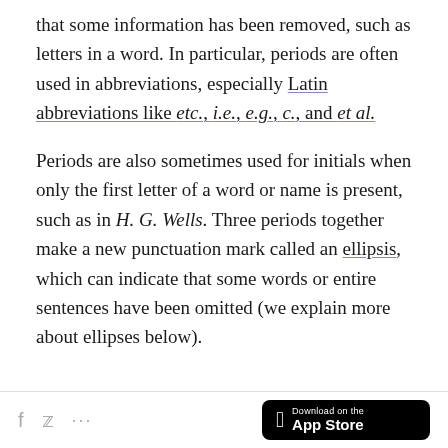that some information has been removed, such as letters in a word. In particular, periods are often used in abbreviations, especially Latin abbreviations like etc., i.e., e.g., c., and et al.
Periods are also sometimes used for initials when only the first letter of a word or name is present, such as in H. G. Wells. Three periods together make a new punctuation mark called an ellipsis, which can indicate that some words or entire sentences have been omitted (we explain more about ellipses below).
Download on the App Store